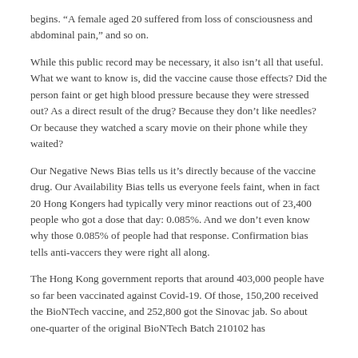begins. “A female aged 20 suffered from loss of consciousness and abdominal pain,” and so on.
While this public record may be necessary, it also isn’t all that useful. What we want to know is, did the vaccine cause those effects? Did the person faint or get high blood pressure because they were stressed out? As a direct result of the drug? Because they don’t like needles? Or because they watched a scary movie on their phone while they waited?
Our Negative News Bias tells us it’s directly because of the vaccine drug. Our Availability Bias tells us everyone feels faint, when in fact 20 Hong Kongers had typically very minor reactions out of 23,400 people who got a dose that day: 0.085%. And we don’t even know why those 0.085% of people had that response. Confirmation bias tells anti-vaccers they were right all along.
The Hong Kong government reports that around 403,000 people have so far been vaccinated against Covid-19. Of those, 150,200 received the BioNTech vaccine, and 252,800 got the Sinovac jab. So about one-quarter of the original BioNTech Batch 210102 has